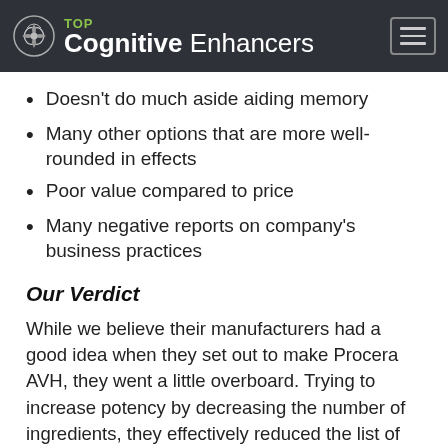TOP Cognitive Enhancers
Doesn't do much aside aiding memory
Many other options that are more well-rounded in effects
Poor value compared to price
Many negative reports on company's business practices
Our Verdict
While we believe their manufacturers had a good idea when they set out to make Procera AVH, they went a little overboard. Trying to increase potency by decreasing the number of ingredients, they effectively reduced the list of ingredients so much… that they're now coming off as a little cheap. Procera AVH's formula is pretty simple and if